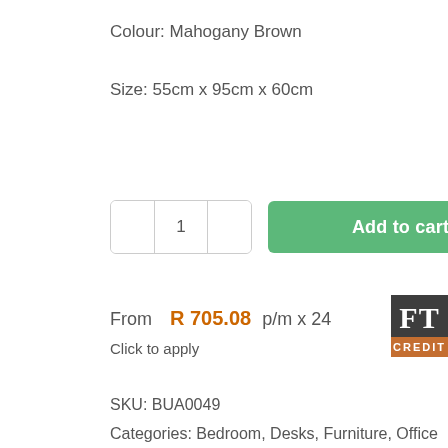Colour: Mahogany Brown
Size: 55cm x 95cm x 60cm
[Figure (screenshot): Quantity selector control with minus button, value '1', and plus button, followed by a green 'Add to cart' button]
From  R 705.08 p/m x 24
Click to apply
[Figure (logo): FT CREDIT badge - dark grey top with 'FT' in serif white font, orange bottom with 'CREDIT' in white caps]
SKU: BUA0049
Categories: Bedroom, Desks, Furniture, Office